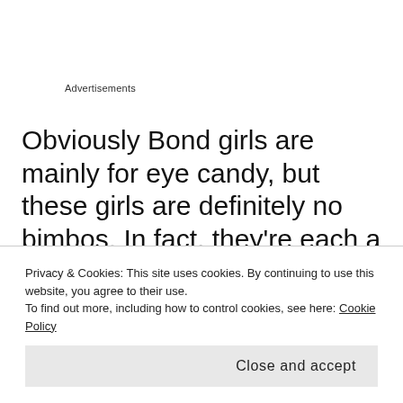Advertisements
Obviously Bond girls are mainly for eye candy, but these girls are definitely no bimbos. In fact, they're each a force to be reckoned with and in some cases, they're equal if not better than Bond himself (Wai Lin definitely comes to mind). One thing for sure, all five of these
Privacy & Cookies: This site uses cookies. By continuing to use this website, you agree to their use.
To find out more, including how to control cookies, see here: Cookie Policy
Close and accept